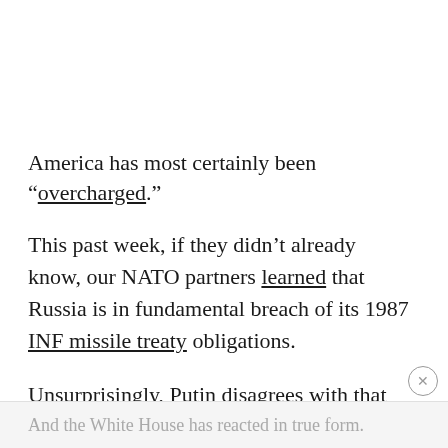America has most certainly been “overcharged.”
This past week, if they didn’t already know, our NATO partners learned that Russia is in fundamental breach of its 1987 INF missile treaty obligations.
Unsurprisingly, Putin disagrees with that finding. Instead, he’s declared the case closed.
And the White House has reacted in true form.